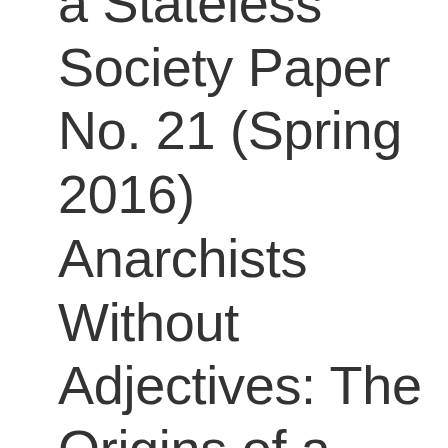a Stateless Society Paper No. 21 (Spring 2016) Anarchists Without Adjectives: The Origins of a